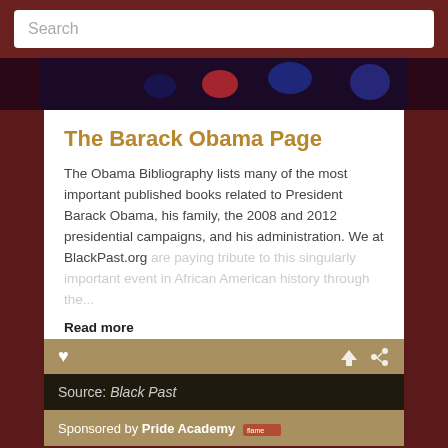Search
[Figure (photo): Dark photo strip showing what appears to be colored lights or bokeh]
The Barack Obama Page
The Obama Bibliography lists many of the most important published books related to President Barack Obama, his family, the 2008 and 2012 presidential campaigns, and his administration. We at BlackPast.org are paying tribute to this singularly important event in African American history through the...
Read more
Source: Black Past
Sponsored by Pride Academy
[Figure (line-chart): Nonmarital Birth Rates in the United States, 1940-2014]